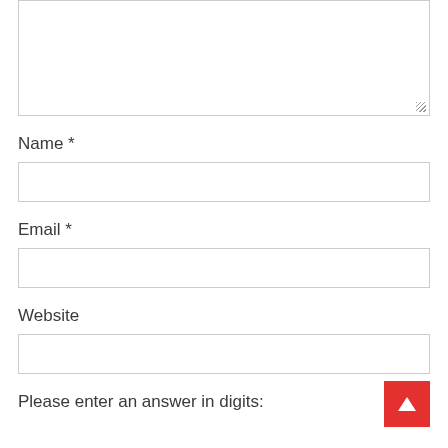[Figure (other): Textarea input box (comment/message field) with resize handle at bottom right]
Name *
[Figure (other): Name text input field]
Email *
[Figure (other): Email text input field]
Website
[Figure (other): Website text input field with back-to-top red button overlay]
Please enter an answer in digits: